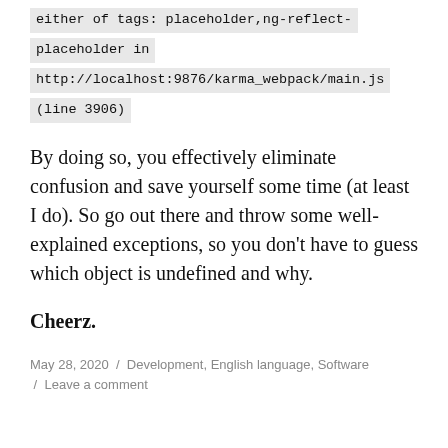either of tags: placeholder,ng-reflect-placeholder in http://localhost:9876/karma_webpack/main.js (line 3906)
By doing so, you effectively eliminate confusion and save yourself some time (at least I do). So go out there and throw some well-explained exceptions, so you don't have to guess which object is undefined and why.
Cheerz.
May 28, 2020  /  Development, English language, Software  /  Leave a comment